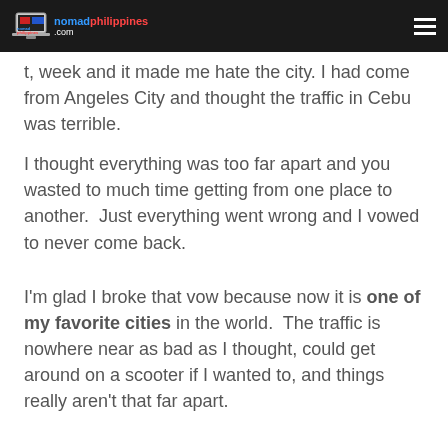nomadphilippines.com
t, week and it made me hate the city. I had come from Angeles City and thought the traffic in Cebu was terrible.
I thought everything was too far apart and you wasted to much time getting from one place to another. Just everything went wrong and I vowed to never come back.
I'm glad I broke that vow because now it is one of my favorite cities in the world. The traffic is nowhere near as bad as I thought, could get around on a scooter if I wanted to, and things really aren't that far apart.
All I needed to do was go clear my head and come back with an open mind, and then I found out I really liked it.
It just felt a lot different to Angeles where I could get around by walking.
Pros of Living in Cebu